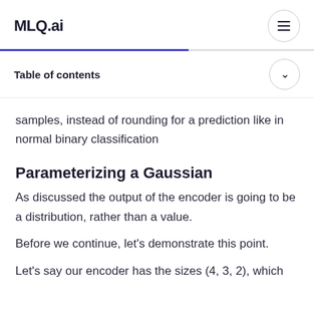MLQ.ai
samples, instead of rounding for a prediction like in normal binary classification
Parameterizing a Gaussian
As discussed the output of the encoder is going to be a distribution, rather than a value.
Before we continue, let's demonstrate this point.
Let's say our encoder has the sizes (4, 3, 2), which